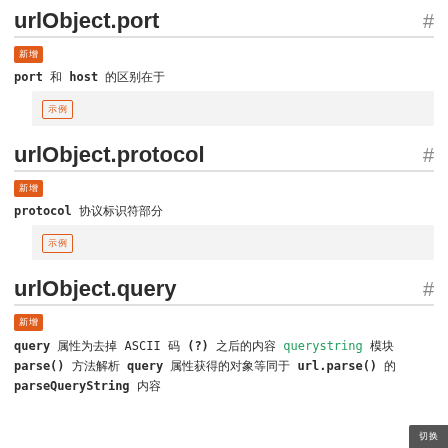urlObject.port #
新增
port 和 host 的区别在于
示例
urlObject.protocol #
新增
protocol 协议标识符部分
示例
urlObject.query #
新增
query 属性为去掉 ASCII 码 (?) 之后的内容 querystring 模块 parse() 方法解析 query 属性获得的对象等同于 url.parse() 的 parseQueryString 内容